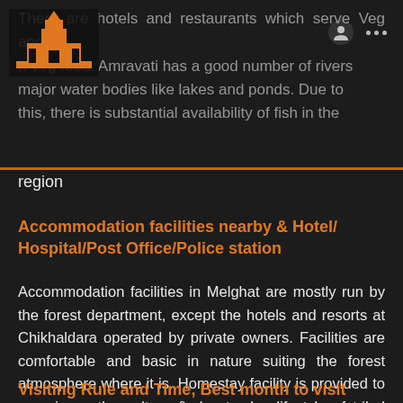There are hotels and restaurants which serve Veg and n-veg food. Amravati has a good number of rivers major water bodies like lakes and ponds. Due to this, there is substantial availability of fish in the region
Accommodation facilities nearby & Hotel/Hospital/Post Office/Police station
Accommodation facilities in Melghat are mostly run by the forest department, except the hotels and resorts at Chikhaldara operated by private owners. Facilities are comfortable and basic in nature suiting the forest atmosphere where it is. Homestay facility is provided to experience the culture & day to day lifestyle of tribal people.
Visiting Rule and Time, Best month to visit